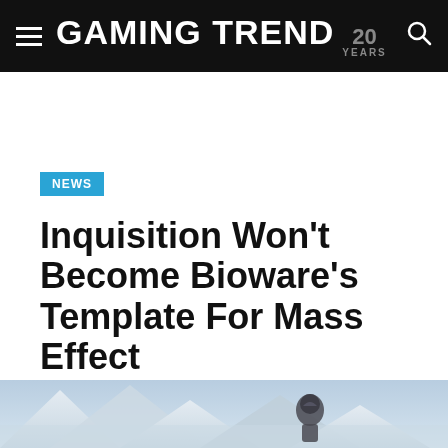GAMING TREND 20 YEARS
NEWS
Inquisition Won't Become Bioware's Template For Mass Effect
By Kenneth Shepard  Posted on February 3, 2015
[Figure (photo): Hero image showing a snowy mountain landscape with an armored figure, from Dragon Age: Inquisition]